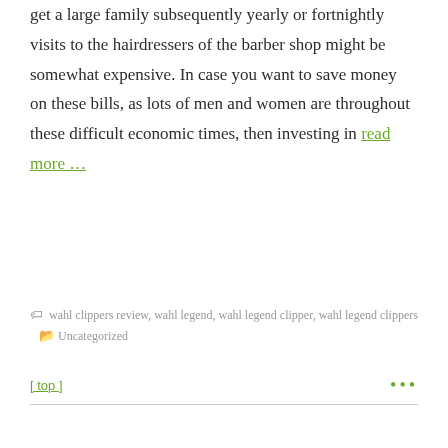get a large family subsequently yearly or fortnightly visits to the hairdressers of the barber shop might be somewhat expensive. In case you want to save money on these bills, as lots of men and women are throughout these difficult economic times, then investing in read more …
wahl clippers review, wahl legend, wahl legend clipper, wahl legend clippers   Uncategorized
[ top ]